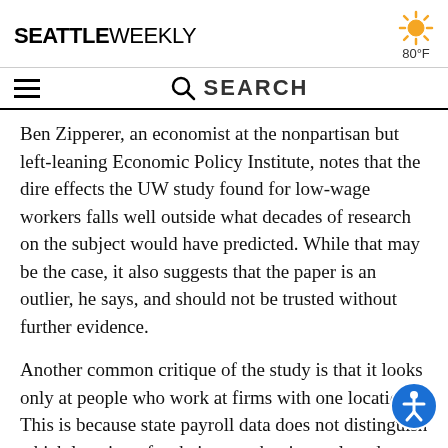SEATTLE WEEKLY — 80°F
Ben Zipperer, an economist at the nonpartisan but left-leaning Economic Policy Institute, notes that the dire effects the UW study found for low-wage workers falls well outside what decades of research on the subject would have predicted. While that may be the case, it also suggests that the paper is an outlier, he says, and should not be trusted without further evidence.
Another common critique of the study is that it looks only at people who work at firms with one location. This is because state payroll data does not distinguish which location of a chain a worker is employed at. Thus it is impossible to know, for example, whether a barista is working at a